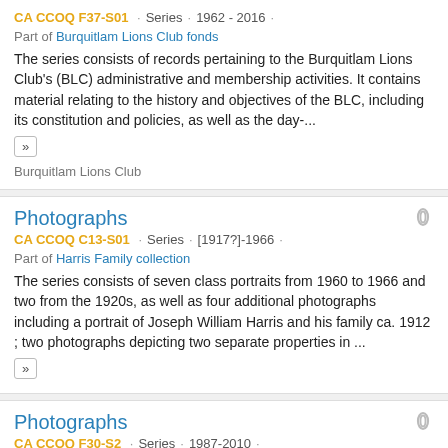CA CCOQ F37-S01 · Series · 1962 - 2016 · Part of Burquitlam Lions Club fonds
The series consists of records pertaining to the Burquitlam Lions Club's (BLC) administrative and membership activities. It contains material relating to the history and objectives of the BLC, including its constitution and policies, as well as the day-...
Burquitlam Lions Club
Photographs
CA CCOQ C13-S01 · Series · [1917?]-1966 · Part of Harris Family collection
The series consists of seven class portraits from 1960 to 1966 and two from the 1920s, as well as four additional photographs including a portrait of Joseph William Harris and his family ca. 1912 ; two photographs depicting two separate properties in ...
Photographs
CA CCOQ F30-S2 · Series · 1987-2010 · Part of Coquitlam Foundation fonds
The series consists of photographs related to the Coquitlam Foundation awards galas, fundraising dinners, and other